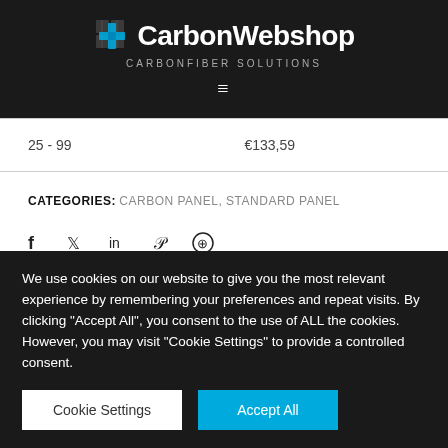CarbonWebshop CARBONFIBER SOLUTIONS
| 25 - 99 | €133,59 |
CATEGORIES: CARBON PANEL, STANDARD PANEL
[Figure (other): Social media share icons: Facebook, Twitter, LinkedIn, Pinterest, WhatsApp]
We use cookies on our website to give you the most relevant experience by remembering your preferences and repeat visits. By clicking "Accept All", you consent to the use of ALL the cookies. However, you may visit "Cookie Settings" to provide a controlled consent.
Cookie Settings | Accept All